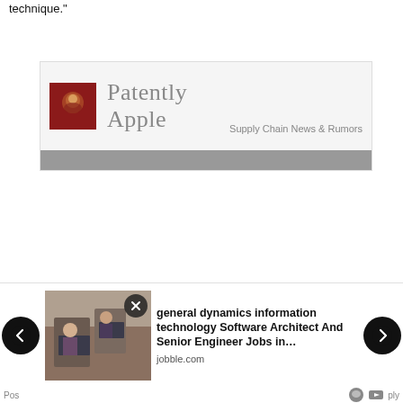technique."
[Figure (logo): Patently Apple – Supply Chain News & Rumors website banner with logo and gray navigation bar]
[Figure (infographic): Advertisement carousel showing a job ad: 'general dynamics information technology Software Architect And Senior Engineer Jobs in...' from jobble.com, with a photo of people working at computers, previous/next navigation arrows, and a close button]